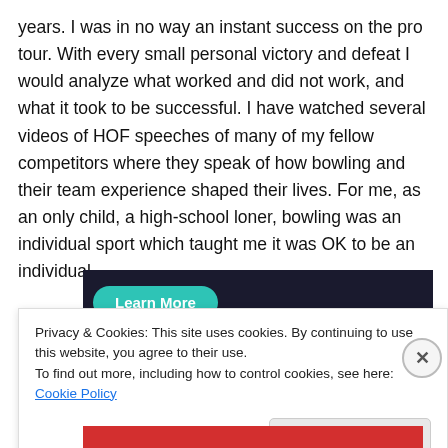years. I was in no way an instant success on the pro tour. With every small personal victory and defeat I would analyze what worked and did not work, and what it took to be successful. I have watched several videos of HOF speeches of many of my fellow competitors where they speak of how bowling and their team experience shaped their lives. For me, as an only child, a high-school loner, bowling was an individual sport which taught me it was OK to be an individual.
[Figure (other): Dark banner with a teal 'Learn More' button]
Privacy & Cookies: This site uses cookies. By continuing to use this website, you agree to their use.
To find out more, including how to control cookies, see here: Cookie Policy